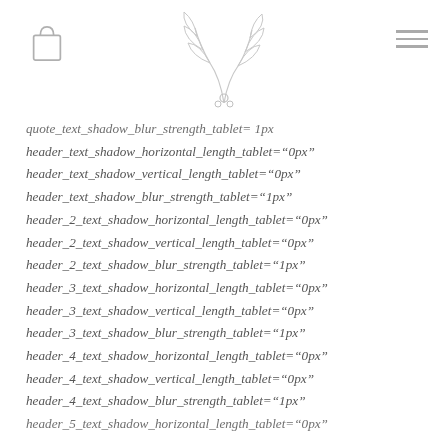[header with bag icon, botanical illustration, and menu icon]
quote_text_shadow_blur_strength_tablet= 1px
header_text_shadow_horizontal_length_tablet="0px"
header_text_shadow_vertical_length_tablet="0px"
header_text_shadow_blur_strength_tablet="1px"
header_2_text_shadow_horizontal_length_tablet="0px"
header_2_text_shadow_vertical_length_tablet="0px"
header_2_text_shadow_blur_strength_tablet="1px"
header_3_text_shadow_horizontal_length_tablet="0px"
header_3_text_shadow_vertical_length_tablet="0px"
header_3_text_shadow_blur_strength_tablet="1px"
header_4_text_shadow_horizontal_length_tablet="0px"
header_4_text_shadow_vertical_length_tablet="0px"
header_4_text_shadow_blur_strength_tablet="1px"
header_5_text_shadow_horizontal_length_tablet="0px"